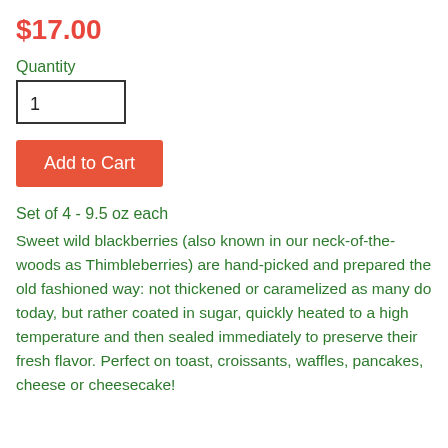$17.00
Quantity
1
Add to Cart
Set of 4 - 9.5 oz each
Sweet wild blackberries (also known in our neck-of-the-woods as Thimbleberries) are hand-picked and prepared the old fashioned way: not thickened or caramelized as many do today, but rather coated in sugar, quickly heated to a high temperature and then sealed immediately to preserve their fresh flavor. Perfect on toast, croissants, waffles, pancakes, cheese or cheesecake!